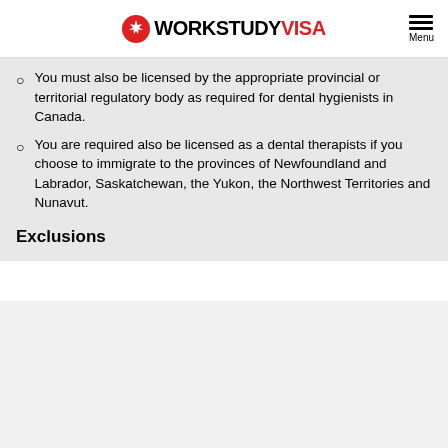WORKSTUDY VISA
You must also be licensed by the appropriate provincial or territorial regulatory body as required for dental hygienists in Canada.
You are required also be licensed as a dental therapists if you choose to immigrate to the provinces of Newfoundland and Labrador, Saskatchewan, the Yukon, the Northwest Territories and Nunavut.
Exclusions